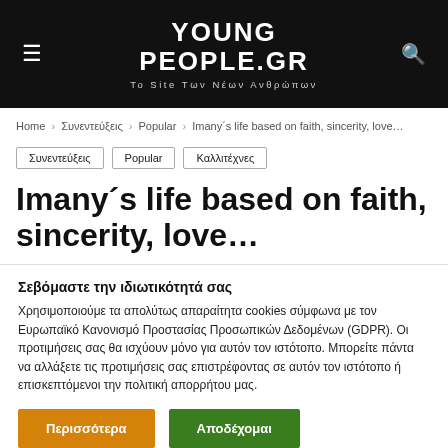YOUNG PEOPLE.GR — Το Site Των Νέων Ανθρώπων
Home › Συνεντεύξεις › Popular › Imany´s life based on faith, sincerity, love…
Συνεντεύξεις
Popular
Καλλιτέχνες
Imany´s life based on faith, sincerity, love…
Σεβόμαστε την ιδιωτικότητά σας
Χρησιμοποιούμε τα απολύτως απαραίτητα cookies σύμφωνα με τον Ευρωπαϊκό Κανονισμό Προστασίας Προσωπικών Δεδομένων (GDPR). Οι προτιμήσεις σας θα ισχύουν μόνο για αυτόν τον ιστότοπο. Μπορείτε πάντα να αλλάξετε τις προτιμήσεις σας επιστρέφοντας σε αυτόν τον ιστότοπο ή επισκεπτόμενοι την πολιτική απορρήτου μας.
Περισσότερα | Αποδέχομαι